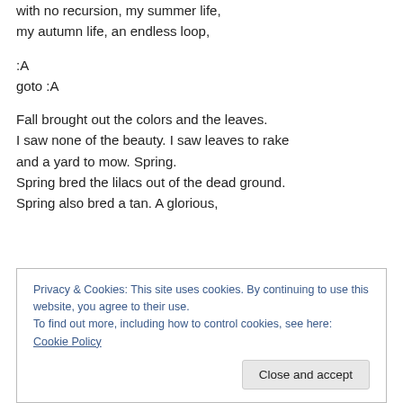with no recursion, my summer life,
my autumn life, an endless loop,
:A
goto :A
Fall brought out the colors and the leaves.
I saw none of the beauty. I saw leaves to rake and a yard to mow. Spring.
Spring bred the lilacs out of the dead ground.
Spring also bred a tan. A glorious,
Privacy & Cookies: This site uses cookies. By continuing to use this website, you agree to their use.
To find out more, including how to control cookies, see here: Cookie Policy